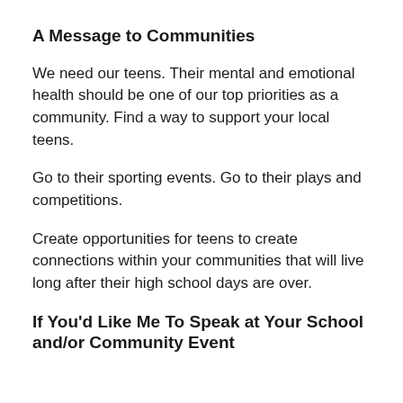A Message to Communities
We need our teens. Their mental and emotional health should be one of our top priorities as a community. Find a way to support your local teens.
Go to their sporting events. Go to their plays and competitions.
Create opportunities for teens to create connections within your communities that will live long after their high school days are over.
If You'd Like Me To Speak at Your School and/or Community Event